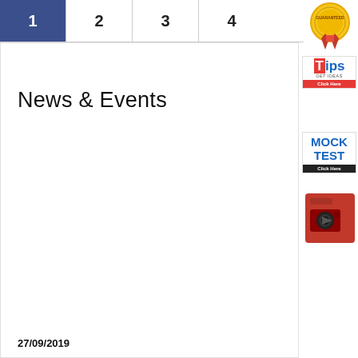1  2  3  4
News & Events
27/09/2019
[Figure (logo): Award badge - gold circular medal with red ribbon]
[Figure (logo): Tips - Get Ideas, Click Here button]
[Figure (logo): Mock Test - Click Here button]
[Figure (illustration): Red video camera icon box]